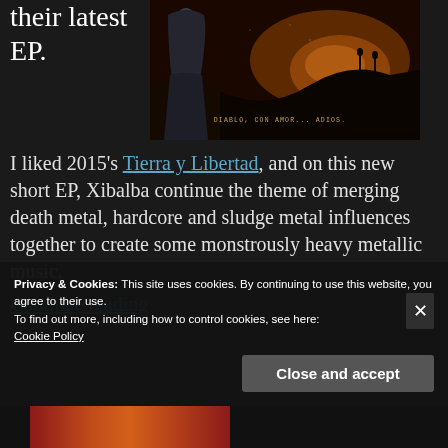their latest EP.
[Figure (illustration): Dark fantasy album cover art with a cloaked figure on the left and a hellish landscape in the background, text reading 'DIABLO, CON AMOR... ADIOS']
I liked 2015's Tierra y Libertad, and on this new short EP, Xibalba continue the theme of merging death metal, hardcore and sludge metal influences together to create some monstrously heavy metallic music.
Continue reading
Privacy & Cookies: This site uses cookies. By continuing to use this website, you agree to their use.
To find out more, including how to control cookies, see here:
Cookie Policy
Close and accept